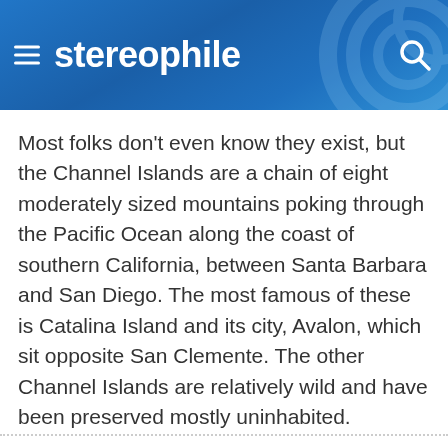stereophile
Most folks don't even know they exist, but the Channel Islands are a chain of eight moderately sized mountains poking through the Pacific Ocean along the coast of southern California, between Santa Barbara and San Diego. The most famous of these is Catalina Island and its city, Avalon, which sit opposite San Clemente. The other Channel Islands are relatively wild and have been preserved mostly uninhabited.
Continue Reading »